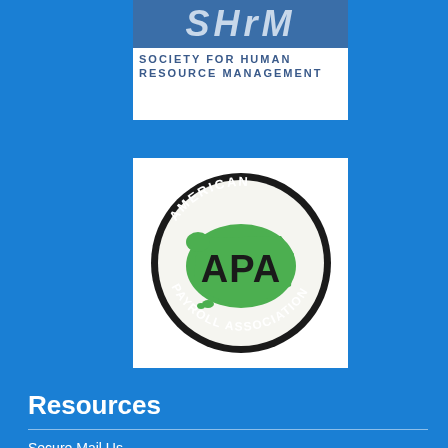[Figure (logo): SHRM Society for Human Resource Management logo — blue banner with stylized letters and white text below]
[Figure (logo): American Payroll Association (APA) logo — oval badge with black border, green USA map, and APA text in the center]
Resources
Secure Mail Us
IRS Information